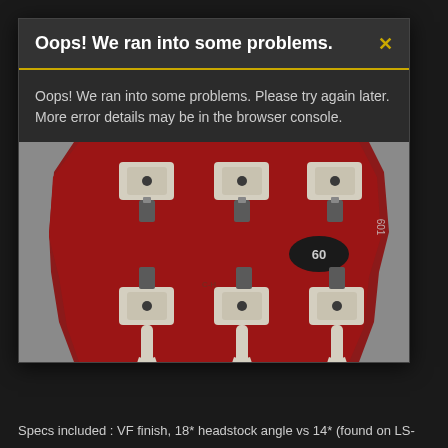Oops! We ran into some problems.
Oops! We ran into some problems. Please try again later. More error details may be in the browser console.
[Figure (photo): Close-up photo of a red guitar headstock (back side) showing 6 tuning pegs with cream/white buttons arranged 3 on top and 3 on bottom, with a small oval label reading '60'. The guitar is resting on a grey textured surface.]
Specs included : VF finish, 18* headstock angle vs 14* (found on LS-